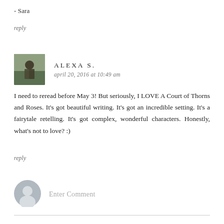- Sara
reply
ALEXA S.
april 20, 2016 at 10:49 am
I need to reread before May 3! But seriously, I LOVE A Court of Thorns and Roses. It's got beautiful writing. It's got an incredible setting. It's a fairytale retelling. It's got complex, wonderful characters. Honestly, what's not to love? :)
reply
Enter Comment